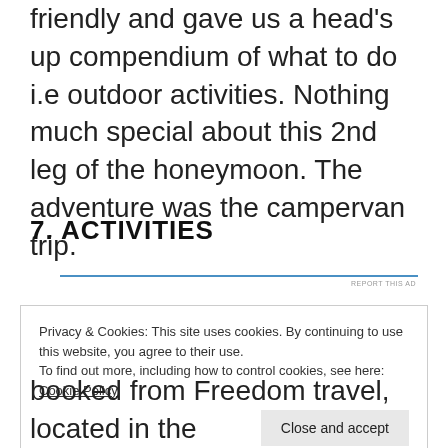friendly and gave us a head's up compendium of what to do i.e outdoor activities. Nothing much special about this 2nd leg of the honeymoon. The adventure was the campervan trip.
7. ACTIVITIES
Privacy & Cookies: This site uses cookies. By continuing to use this website, you agree to their use.
To find out more, including how to control cookies, see here: Cookie Policy
booked from Freedom travel, located in the